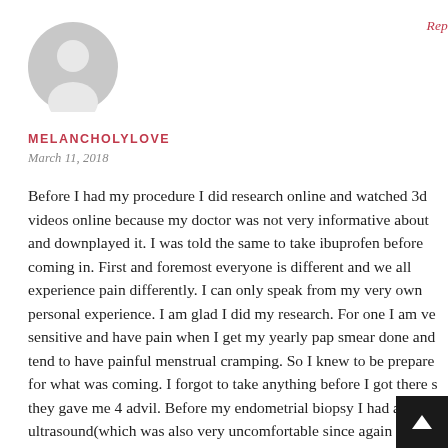[Figure (illustration): Gray circular user avatar icon with silhouette of a person, no photo]
Rep
MELANCHOLYLOVE
March 11, 2018
Before I had my procedure I did research online and watched 3d videos online because my doctor was not very informative about and downplayed it. I was told the same to take ibuprofen before coming in. First and foremost everyone is different and we all experience pain differently. I can only speak from my very own personal experience. I am glad I did my research. For one I am ve sensitive and have pain when I get my yearly pap smear done and tend to have painful menstrual cramping. So I knew to be prepare for what was coming. I forgot to take anything before I got there s they gave me 4 advil. Before my endometrial biopsy I had a vagina ultrasound(which was also very uncomfortable since again I tend to be tender). My husband drove me there and went in wit fo